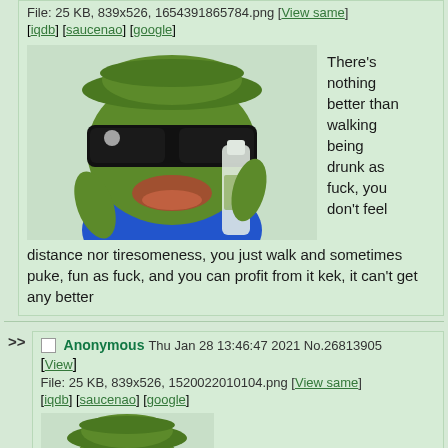File: 25 KB, 839x526, 1654391865784.png [View same] [iqdb] [saucenao] [google]
[Figure (illustration): Pepe the Frog wearing sunglasses and a blue shirt, drinking from a bottle]
There's nothing better than walking being drunk as fuck, you don't feel distance nor tiresomeness, you just walk and sometimes puke, fun as fuck, and you can profit from it kek, it can't get any better
>> Anonymous Thu Jan 28 13:46:47 2021 No.26813905 [View]
File: 25 KB, 839x526, 1520022010104.png [View same] [iqdb] [saucenao] [google]
[Figure (illustration): Pepe the Frog wearing sunglasses and blue shirt, smaller version]
AG PUMP
>> Anonymous Mon Nov 16 15:59:18 2020 No.23967793